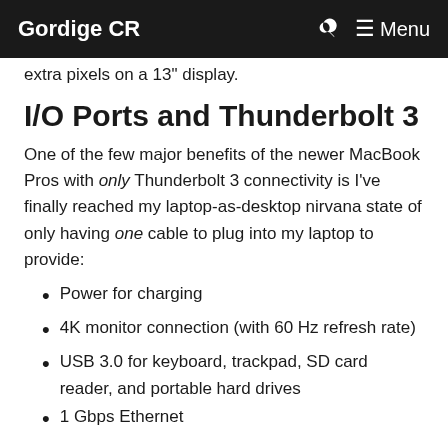Gordige CR   🔍   ☰ Menu
extra pixels on a 13" display.
I/O Ports and Thunderbolt 3
One of the few major benefits of the newer MacBook Pros with only Thunderbolt 3 connectivity is I've finally reached my laptop-as-desktop nirvana state of only having one cable to plug into my laptop to provide:
Power for charging
4K monitor connection (with 60 Hz refresh rate)
USB 3.0 for keyboard, trackpad, SD card reader, and portable hard drives
1 Gbps Ethernet